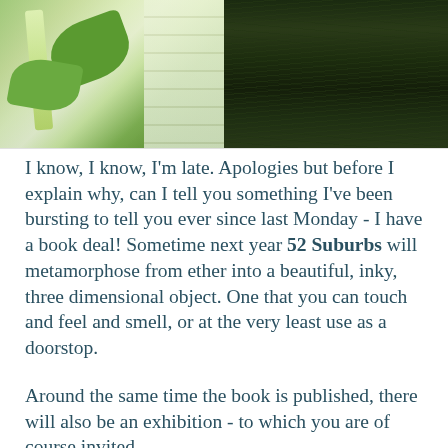[Figure (photo): Two side-by-side photos: left shows green leaves and white house siding; right shows dark green grass close-up]
I know, I know, I'm late. Apologies but before I explain why, can I tell you something I've been bursting to tell you ever since last Monday - I have a book deal! Sometime next year 52 Suburbs will metamorphose from ether into a beautiful, inky, three dimensional object. One that you can touch and feel and smell, or at the very least use as a doorstop.
Around the same time the book is published, there will also be an exhibition - to which you are of course invited.
As if both book and exhibition weren't enough to spin my head. On the same day I hand-delivered the signed contract to my publisher, I received an email asking me to submit a proposal for an amazing